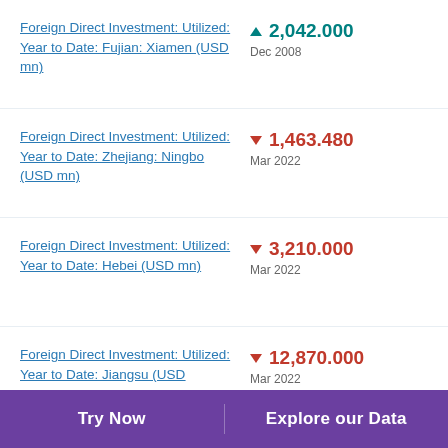Foreign Direct Investment: Utilized: Year to Date: Fujian: Xiamen (USD mn)
Foreign Direct Investment: Utilized: Year to Date: Zhejiang: Ningbo (USD mn)
Foreign Direct Investment: Utilized: Year to Date: Hebei (USD mn)
Foreign Direct Investment: Utilized: Year to Date: Jiangsu (USD mn)
Try Now | Explore our Data